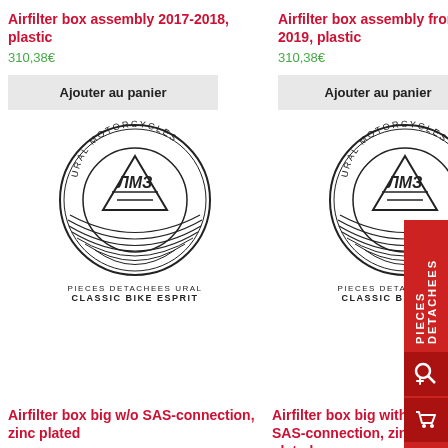Airfilter box assembly 2017-2018, plastic
310,38€
Ajouter au panier
[Figure (logo): Ural Motorcycles circular logo with triangle and lines, text PIECES DETACHEES URAL / CLASSIC BIKE ESPRIT]
Airfilter box assembly from 2019, plastic
310,38€
Ajouter au panier
[Figure (logo): Ural Motorcycles circular logo with triangle and lines, text PIECES DETACHEES URAL / CLASSIC BIKE ESPRIT]
PIECES DETACHEES
Airfilter box big w/o SAS-connection, zinc plated
Airfilter box big with SAS-connection, zinc plated